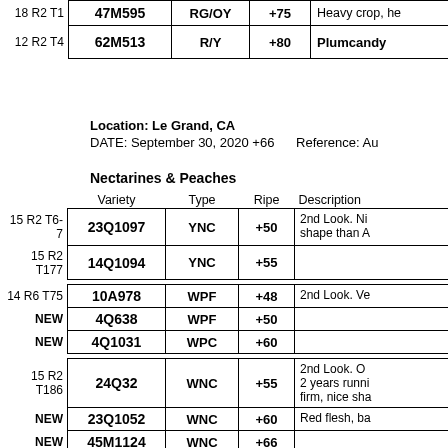|  | Variety | Type | Ripe | Description |
| --- | --- | --- | --- | --- |
| 18 R2 T1 | 47M595 | RG/OY | +75 | Heavy crop, he |
| 12 R2 T4 | 62M513 | R/Y | +80 | Plumcandy |
Location:  Le Grand, CA
DATE:  September 30, 2020  +66     Reference:  Au
Nectarines & Peaches
|  | Variety | Type | Ripe | Description |
| --- | --- | --- | --- | --- |
| 15 R2 T6-7 | 23Q1097 | YNC | +50 | 2nd Look.  Ni shape than A |
| 15 R2 T177 | 14Q1094 | YNC | +55 |  |
| 14 R6 T75 | 10A978 | WPF | +48 | 2nd Look.  Ve |
| NEW | 4Q638 | WPF | +50 |  |
| NEW | 4Q1031 | WPC | +60 |  |
| 15 R2 T186 | 24Q32 | WNC | +55 | 2nd Look.  O 2 years runni firm, nice sha |
| NEW | 23Q1052 | WNC | +60 | Red flesh, ba |
| NEW | 45M1124 | WNC | +66 |  |